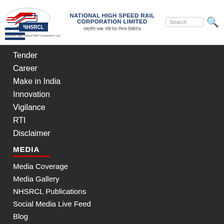NATIONAL HIGH SPEED RAIL CORPORATION LIMITED
Tender
Career
Make in India
Innovation
Vigilance
RTI
Disclaimer
MEDIA
Media Coverage
Media Gallery
NHSRCL Publications
Social Media Live Feed
Blog
PROJECT